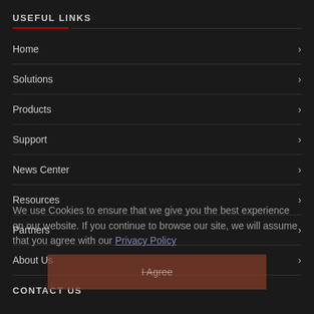USEFUL LINKS
Home
Solutions
Products
Support
News Center
Resources
Partners
About Us
We use Cookies to ensure that we give you the best experience on our website. If you continue to browse our site, we will assume that you agree with our Privacy Policy
I Agree
CONTACT US